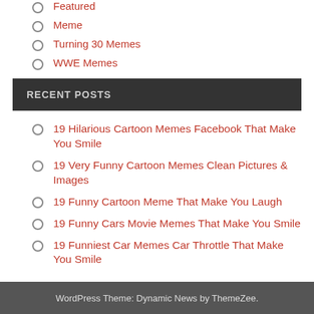Featured
Meme
Turning 30 Memes
WWE Memes
RECENT POSTS
19 Hilarious Cartoon Memes Facebook That Make You Smile
19 Very Funny Cartoon Memes Clean Pictures & Images
19 Funny Cartoon Meme That Make You Laugh
19 Funny Cars Movie Memes That Make You Smile
19 Funniest Car Memes Car Throttle That Make You Smile
WordPress Theme: Dynamic News by ThemeZee.